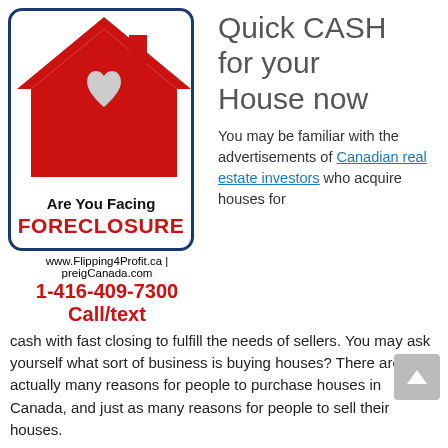[Figure (logo): Red house silhouette with white heart, text 'Are You Facing FORECLOSURE', website and phone number below, inside rounded blue border box]
Quick CASH for your House now
You may be familiar with the advertisements of Canadian real estate investors who acquire houses for cash with fast closing to fulfill the needs of sellers. You may ask yourself what sort of business is buying houses? There are actually many reasons for people to purchase houses in Canada, and just as many reasons for people to sell their houses.
Once the house is purchased, repairs are performed on it. Afterwards, it is sold for a profit. We can get the repairs done for a very low price as construction companies would give concession to people who offer them several projects to work on. The house is sold after the completion of repairs, then we, repeat